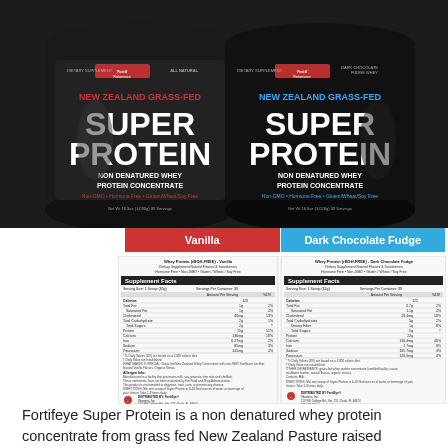[Figure (photo): Two black supplement containers of Fortifeye Super Protein - New Zealand Grass-Fed Non Denatured Whey Protein Concentrate. Left container is Vanilla flavor, right container is Dark Chocolate Fudge flavor. Both feature a muscular figure on the label.]
[Figure (table-as-image): Two supplement facts panels side by side. Left panel for Vanilla flavor, right panel for Dark Chocolate Fudge flavor. Each shows serving size, calories, fat, cholesterol, carbohydrate, protein, calcium, iron, sodium, potassium values with percent daily values. Distributed by FortiEye Vitamins, Inc. 110 SW College Rd., Ste. 211, Ocala, FL 34474. 888.503.6716 | www.fortifeye.com]
Fortifeye Super Protein is a non denatured whey protein concentrate from grass fed New Zealand Pasture raised